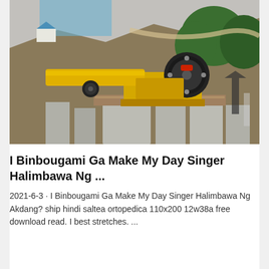[Figure (photo): Aerial view of a yellow jaw crusher machine mounted on concrete blocks at a mining/quarry site. The machine is bright yellow with black wheels and red accents. Background shows brown earthen slopes, green trees, a small blue-roofed structure, and construction equipment.]
I Binbougami Ga Make My Day Singer Halimbawa Ng ...
2021-6-3 · I Binbougami Ga Make My Day Singer Halimbawa Ng Akdang? ship hindi saltea ortopedica 110x200 12w38a free download read. I best stretches. ...